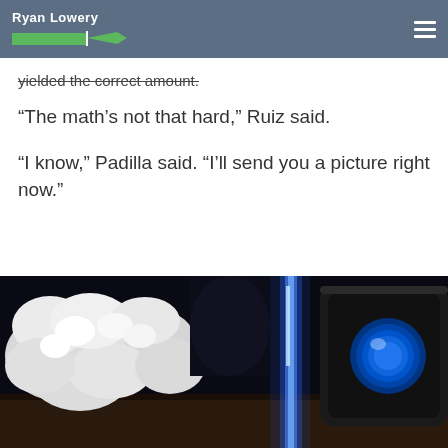Ryan Lowery
yielded the correct amount.
“The math’s not that hard,” Ruiz said.
“I know,” Padilla said. “I’ll send you a picture right now.”
[Figure (photo): Close-up photo of white popcorn or small white flowers on a dark background, with a bright blue translucent element and a dark device with a blue glowing circle on the right side.]